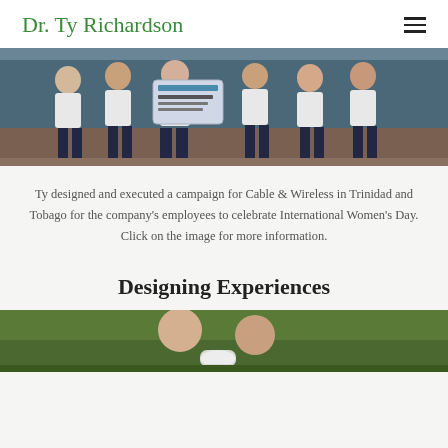Dr. Ty Richardson
[Figure (photo): Group photo of employees in white shirts holding a sign, celebrating International Women's Day for Cable & Wireless in Trinidad and Tobago]
Ty designed and executed a campaign for Cable & Wireless in Trinidad and Tobago for the company's employees to celebrate International Women's Day. Click on the image for more information.
Designing Experiences
[Figure (photo): Partial photo at bottom of page, showing people outdoors on a green field]